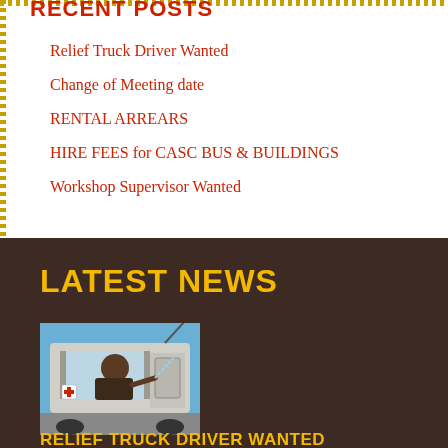RECENT POSTS
Relief Truck Driver Wanted
Change of Meeting date
RENTAL ARREARS
HIRE FEES for CASC BUS & BUILDINGS
Workshop Supervisor Wanted
LATEST NEWS
[Figure (photo): A truck driver visible through the cab window of a white truck, waving or signaling, with a clear blue sky background.]
RELIEF TRUCK DRIVER WANTED